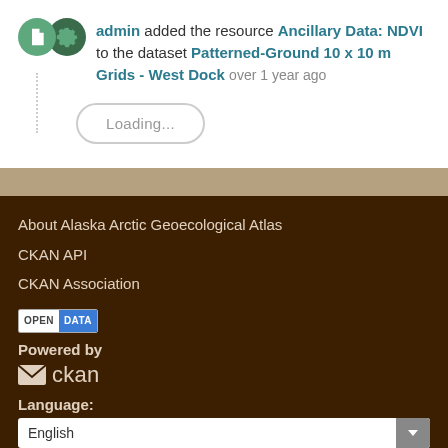admin added the resource Ancillary Data: NDVI to the dataset Patterned-Ground 10 x 10 m Grids - West Dock over 1 year ago
Loading...
About Alaska Arctic Geoecological Atlas
CKAN API
CKAN Association
Powered by ckan
Language: English